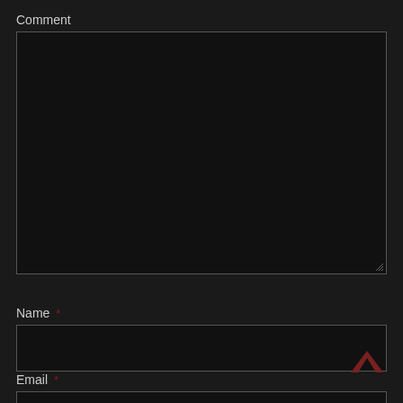Comment
[Figure (screenshot): Empty comment textarea with dark background and resize handle]
Name *
[Figure (screenshot): Empty name input field with dark background]
Email *
[Figure (screenshot): Empty email input field with dark background, scroll-to-top chevron button visible at right]